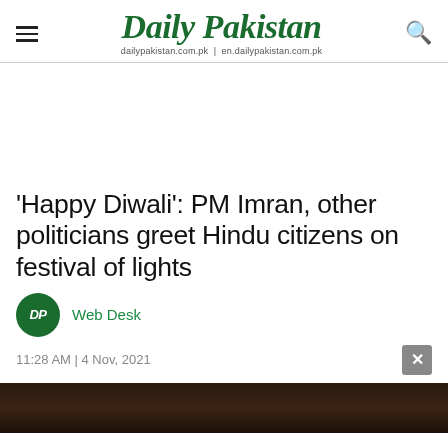Daily Pakistan | dailypakistan.com.pk | en.dailypakistan.com.pk
'Happy Diwali': PM Imran, other politicians greet Hindu citizens on festival of lights
Web Desk
11:28 AM | 4 Nov, 2021
[Figure (photo): Dark image at bottom of page, partially visible]